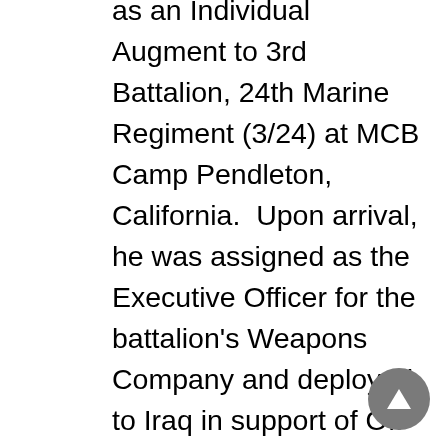as an Individual Augment to 3rd Battalion, 24th Marine Regiment (3/24) at MCB Camp Pendleton, California.  Upon arrival, he was assigned as the Executive Officer for the battalion's Weapons Company and deployed to Iraq in support of OIF 09.2 in August 2009.  The unit subsequently returned to Camp Pendleton in February 2010 and completed the demobilization process.  Captain Rainey returned to Fort Leonard Wood in March 2010 and assumed duties as the Academics Officer for the U.S. Marine Corps Military Police School.  In July 2010, he was assigned to the U.S. Army Military Police Captains Career Course and graduated in December 2010.  During this period Captain Rainey